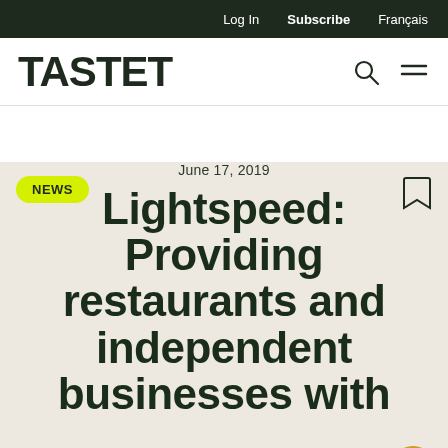Log In   Subscribe   Français
TASTET
NEWS
June 17, 2019
Lightspeed: Providing restaurants and independent businesses with